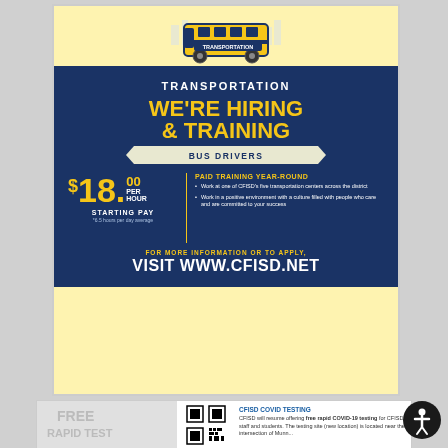[Figure (infographic): CFISD Transportation hiring flyer. Yellow school bus illustration at top. Dark navy blue background with 'TRANSPORTATION' banner. Large yellow text 'WE'RE HIRING & TRAINING'. White banner with navy text 'BUS DRIVERS'. Left column: $18.00 PER HOUR STARTING PAY, *6.5 hours per day average. Right column: PAID TRAINING YEAR-ROUND with two bullet points. Bottom: FOR MORE INFORMATION OR TO APPLY, VISIT WWW.CFISD.NET]
[Figure (infographic): Partial view of a CFISD COVID TESTING flyer showing a QR code and text about free rapid COVID-19 testing for CFISD staff and students. New location at intersection of Munn.]